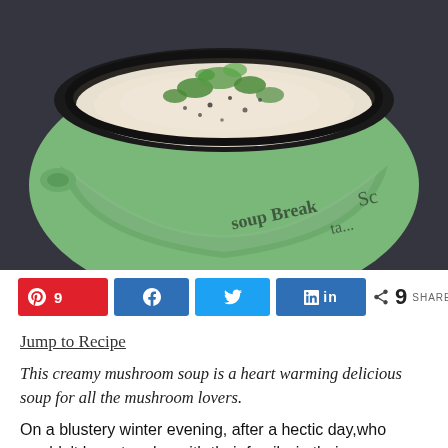[Figure (photo): A green ceramic bowl/mug filled with creamy mushroom soup, garnished with chopped herbs and black pepper, photographed from above-side angle against a dark background. The mug has 'soup Break' text on it.]
[Figure (infographic): Social sharing buttons: Pinterest (red, 9 shares), Facebook (blue), Twitter (light blue), LinkedIn (dark blue), and a total shares count of 9 SHARES]
Jump to Recipe
This creamy mushroom soup is a heart warming delicious soup for all the mushroom lovers.
On a blustery winter evening, after a hectic day,who wouldn't love  to relax with their family, in their warm home, on a cozy couch, and dunk warm crusty